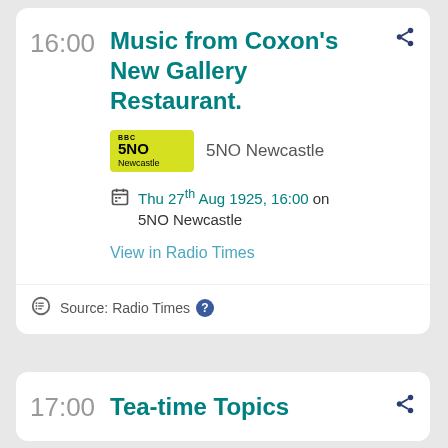16:00
Music from Coxon's New Gallery Restaurant.
5NO Newcastle
Thu 27th Aug 1925, 16:00 on 5NO Newcastle
View in Radio Times
Source: Radio Times
17:00
Tea-time Topics